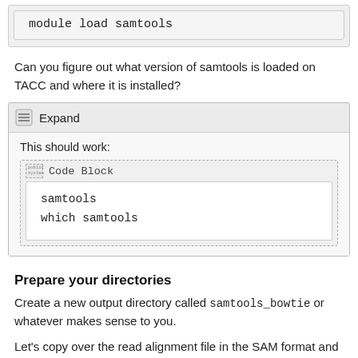module load samtools
Can you figure out what version of samtools is loaded on TACC and where it is installed?
Expand
This should work:
Code Block
samtools
which samtools
Prepare your directories
Create a new output directory called samtools_bowtie or whatever makes sense to you.
Let's copy over the read alignment file in the SAM format and the reference genome in FASTA format to the new directory, so that